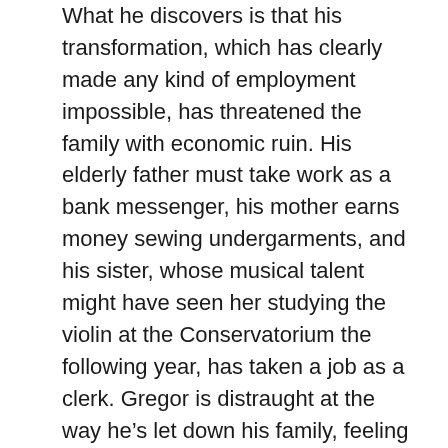What he discovers is that his transformation, which has clearly made any kind of employment impossible, has threatened the family with economic ruin. His elderly father must take work as a bank messenger, his mother earns money sewing undergarments, and his sister, whose musical talent might have seen her studying the violin at the Conservatorium the following year, has taken a job as a clerk. Gregor is distraught at the way he's let down his family, feeling “hot with shame and grief.”
It’s impossible for me to read this section of the story without immediately thinking of Americans whose lives have been transformed by the loss of their jobs during the COVID-19 pandemic and who must rely on the inconsistent help of government stimulus and unemployment payments. Who, like Gregor when